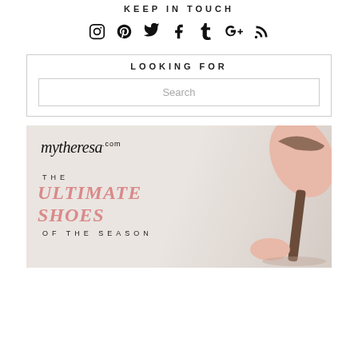KEEP IN TOUCH
[Figure (infographic): Social media icons row: Instagram, Pinterest, Twitter, Facebook, Tumblr, Google+, RSS]
LOOKING FOR
Search
[Figure (photo): mytheresa.com advertisement showing pink high heel shoes with text: THE ULTIMATE SHOES OF THE SEASON]